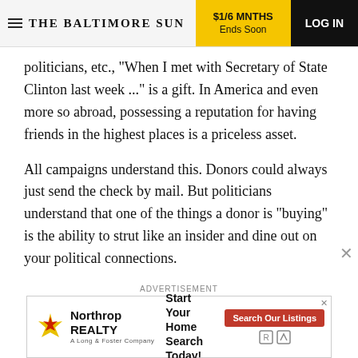THE BALTIMORE SUN | $1/6 MNTHS Ends Soon | LOG IN
politicians, etc., "When I met with Secretary of State Clinton last week ..." is a gift. In America and even more so abroad, possessing a reputation for having friends in the highest places is a priceless asset.
All campaigns understand this. Donors could always just send the check by mail. But politicians understand that one of the things a donor is "buying" is the ability to strut like an insider and dine out on your political connections.
[Figure (other): Northrop Realty advertisement banner: 'Start Your Home Search Today!' with a red 'Search Our Listings' button and real estate icons.]